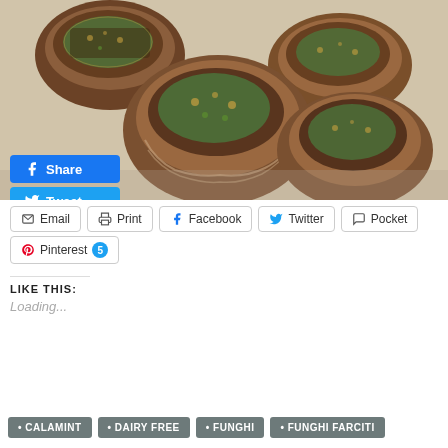[Figure (photo): Four stuffed mushrooms with breadcrumb and herb topping on a baking sheet lined with parchment paper]
[Figure (screenshot): Social sharing buttons: Facebook Share, Tweet, LinkedIn Share overlaid on photo]
[Figure (screenshot): Secondary sharing buttons: Email, Print, Facebook, Twitter, Pocket, Pinterest with badge 5]
LIKE THIS:
Loading...
CALAMINT
DAIRY FREE
FUNGHI
FUNGHI FARCITI